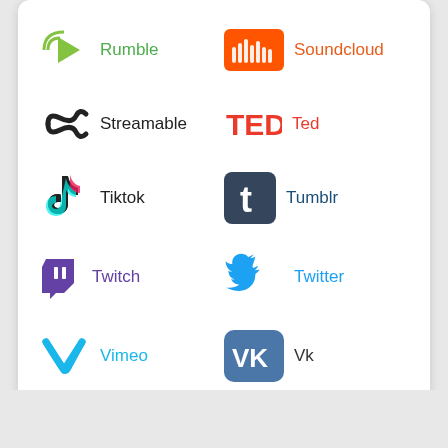[Figure (infographic): Grid of social media platform logos with names: Rumble, Soundcloud, Streamable, Ted, Tiktok, Tumblr, Twitch, Twitter, Vimeo, Vk, Youtube]
Rumble
Soundcloud
Streamable
Ted
Tiktok
Tumblr
Twitch
Twitter
Vimeo
Vk
Youtube